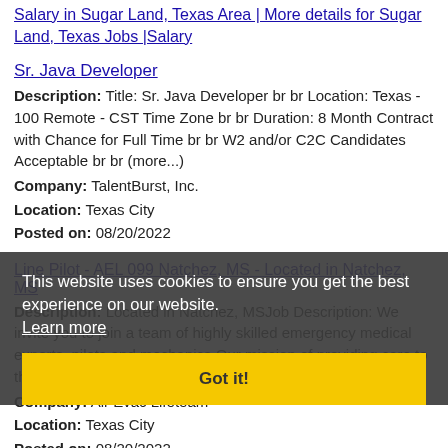Salary in Sugar Land, Texas Area | More details for Sugar Land, Texas Jobs |Salary
Sr. Java Developer
Description: Title: Sr. Java Developer br br Location: Texas - 100 Remote - CST Time Zone br br Duration: 8 Month Contract with Chance for Full Time br br W2 and/or C2C Candidates Acceptable br br (more...)
Company: TalentBurst, Inc.
Location: Texas City
Posted on: 08/20/2022
Line Pilot - AEL 099 Natchez, MS - Located in Natchez, MS
Description: Located in Natchez, MSJob Description: We invite you to join a team of highly skilled emergency medical experts, pilots and mechanics Our mission of providing care to the world at a moments notice (more...)
Company: Air Evac Lifeteam
Location: Texas City
Posted on: 08/20/2022
RN - MS
Description: The benefits of taking a travel nursing job with Cross Country Nurses include: ul li Free Private Housing or Generous
This website uses cookies to ensure you get the best experience on our website. Learn more
Got it!